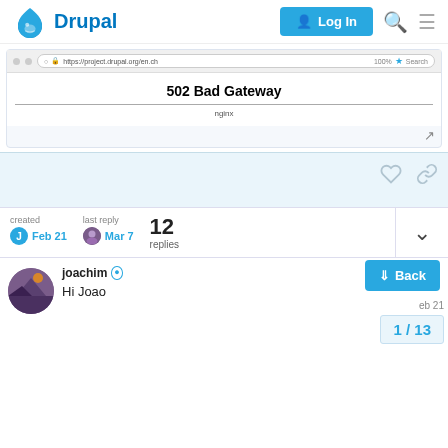Drupal | Log In
[Figure (screenshot): Browser screenshot showing 502 Bad Gateway nginx error page]
created Feb 21   last reply Mar 7   12 replies
joachim   Hi Joao
1 / 13